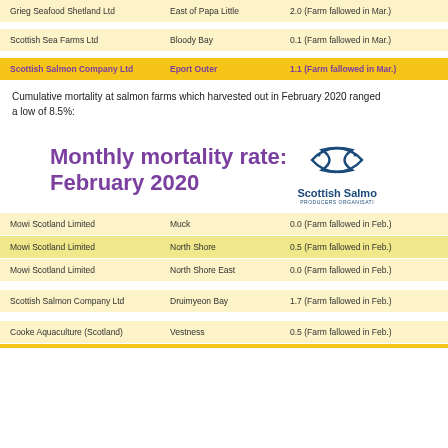| Company | Site | Rate |
| --- | --- | --- |
| Grieg Seafood Shetland Ltd | East of Papa Little | 2.0 (Farm fallowed in Mar.) |
| Scottish Sea Farms Ltd | Bloody Bay | 0.1 (Farm fallowed in Mar.) |
| Scottish Salmon Company Ltd | Eport Outer | 1.1 (Farm fallowed in Mar.) |
Cumulative mortality at salmon farms which harvested out in February 2020 ranged a low of 8.5%:
Monthly mortality rate: February 2020
| Company | Site | Rate |
| --- | --- | --- |
| Mowi Scotland Limited | Muck | 0.0 (Farm fallowed in Feb.) |
| Mowi Scotland Limited | North Shore | 0.5 (Farm fallowed in Feb.) |
| Mowi Scotland Limited | North Shore East | 0.0 (Farm fallowed in Feb.) |
| Scottish Salmon Company Ltd | Druimyeon Bay | 1.7 (Farm fallowed in Feb.) |
| Cooke Aquaculture (Scotland) | Vestness | 0.5 (Farm fallowed in Feb.) |